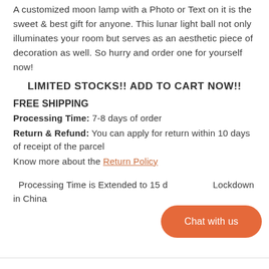A customized moon lamp with a Photo or Text on it is the sweet & best gift for anyone. This lunar light ball not only illuminates your room but serves as an aesthetic piece of decoration as well. So hurry and order one for yourself now!
LIMITED STOCKS!! ADD TO CART NOW!!
FREE SHIPPING
Processing Time: 7-8 days of order
Return & Refund: You can apply for return within 10 days of receipt of the parcel
Know more about the Return Policy
Processing Time is Extended to 15 days due to Lockdown in China